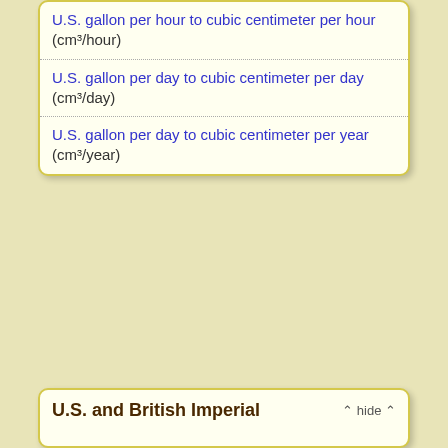U.S. gallon per hour to cubic centimeter per hour (cm³/hour)
U.S. gallon per day to cubic centimeter per day (cm³/day)
U.S. gallon per day to cubic centimeter per year (cm³/year)
U.S. and British Imperial